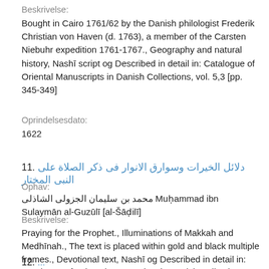Beskrivelse:
Bought in Cairo 1761/62 by the Danish philologist Frederik Christian von Haven (d. 1763), a member of the Carsten Niebuhr expedition 1761-1767., Geography and natural history, Nashī script og Described in detail in: Catalogue of Oriental Manuscripts in Danish Collections, vol. 5,3 [pp. 345-349]
Oprindelsesdato:
1622
11. دلائل الخيرات وسوارق الانوار فى ذكر الصلاة على النبى المختار
Ophav:
محمد بن سليمان الجزولى الشاذلى Muḥammad ibn Sulaymān al-Guzūlī [al-Šāḍilī]
Beskrivelse:
Praying for the Prophet., Illuminations of Makkah and Medhīnah., The text is placed within gold and black multiple frames., Devotional text, Nashī og Described in detail in: Catalogue of Oriental Manuscripts in Danish Collections, vol. 5,3 [pp. 1248-1251]
12. ...